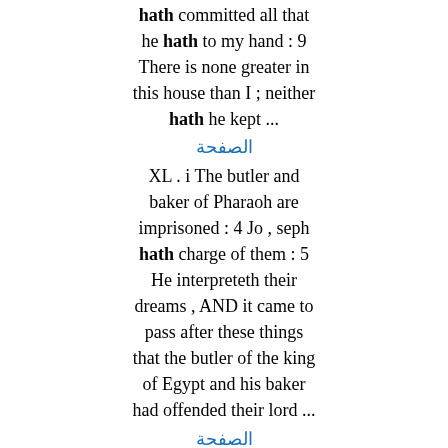hath committed all that he hath to my hand : 9 There is none greater in this house than I ; neither hath he kept ...
الصفحة
XL . i The butler and baker of Pharaoh are imprisoned : 4 Jo , seph hath charge of them : 5 He interpreteth their dreams , AND it came to pass after these things that the butler of the king of Egypt and his baker had offended their lord ...
الصفحة
51 And Joseph called the name of the first - born Manasseh : for God , said he , hath made me forget all my toil , and all my father's house . 52 And the name of the